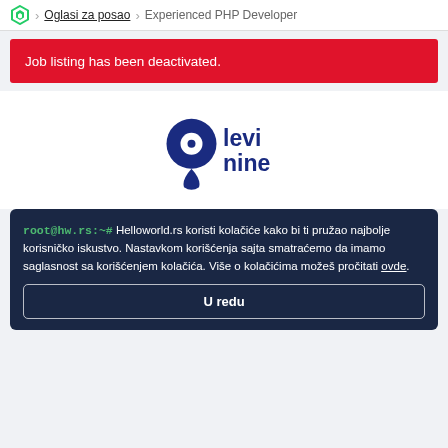Oglasi za posao > Experienced PHP Developer
Job listing has been deactivated.
[Figure (logo): Levi Nine company logo — dark blue numeral 9 shape with a circle dot, beside bold blue text 'levi nine']
root@hw.rs:~# Helloworld.rs koristi kolačiće kako bi ti pružao najbolje korisničko iskustvo. Nastavkom korišćenja sajta smatraćemo da imamo saglasnost sa korišćenjem kolačića. Više o kolačićima možeš pročitati ovde.
U redu